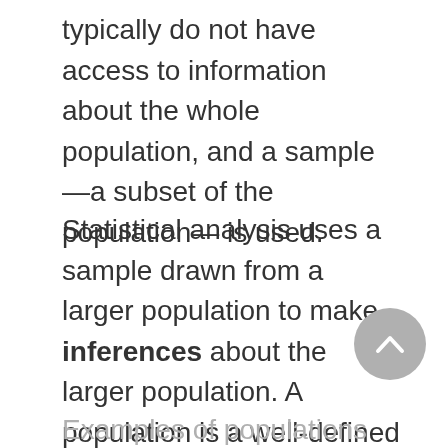typically do not have access to information about the whole population, and a sample—a subset of the population— is used.
Statistical analysis uses a sample drawn from a larger population to make inferences about the larger population. A population is a well-defined group of individuals or observations of any size having a unique quality or characteristic.
Examples of populations include first-